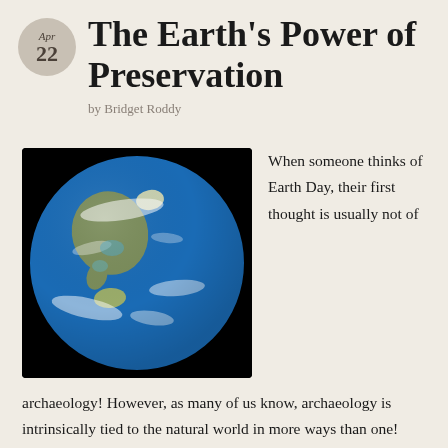Apr 22
The Earth's Power of Preservation
by Bridget Roddy
[Figure (photo): Satellite photograph of Earth from space showing North America, with blue oceans, white clouds, and land masses visible against a black background.]
When someone thinks of Earth Day, their first thought is usually not of
archaeology! However, as many of us know, archaeology is intrinsically tied to the natural world in more ways than one! While celebrating